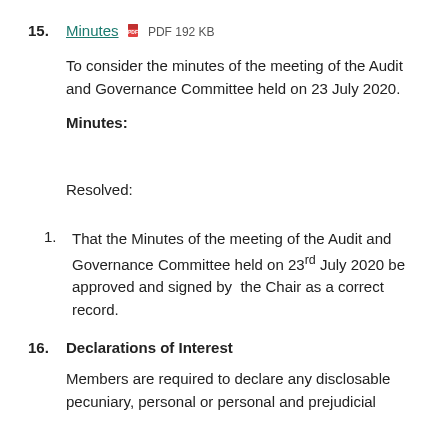15. Minutes PDF 192 KB
To consider the minutes of the meeting of the Audit and Governance Committee held on 23 July 2020.
Minutes:
Resolved:
That the Minutes of the meeting of the Audit and Governance Committee held on 23rd July 2020 be approved and signed by the Chair as a correct record.
16. Declarations of Interest
Members are required to declare any disclosable pecuniary, personal or personal and prejudicial